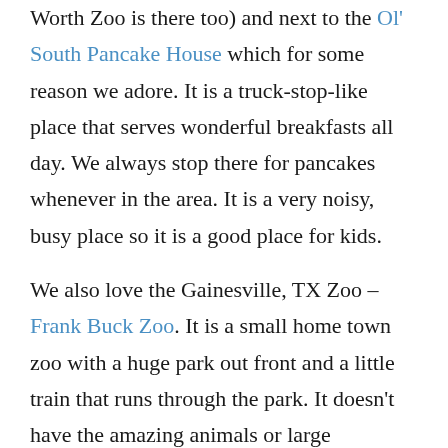Worth Zoo is there too) and next to the Ol' South Pancake House which for some reason we adore. It is a truck-stop-like place that serves wonderful breakfasts all day. We always stop there for pancakes whenever in the area. It is a very noisy, busy place so it is a good place for kids.

We also love the Gainesville, TX Zoo – Frank Buck Zoo. It is a small home town zoo with a huge park out front and a little train that runs through the park. It doesn't have the amazing animals or large attractions that the Dallas and Fort Worth zoos have, but it is charming. It has a one mile loop through the animal attractions that is easily negotiated with a stroller. You can see almost the whole loop so you feel fine with the kids running